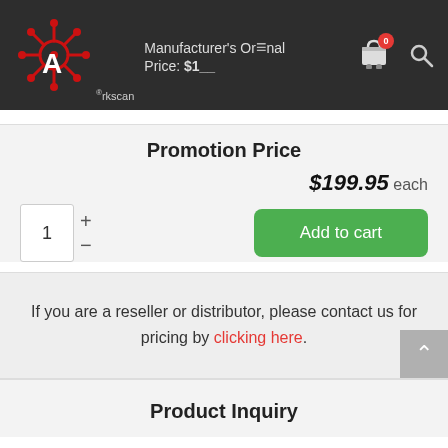Arkscan — Manufacturer's Original Price: $1__ (header navigation)
Promotion Price
$199.95 each
1 + −
Add to cart
If you are a reseller or distributor, please contact us for pricing by clicking here.
Product Inquiry